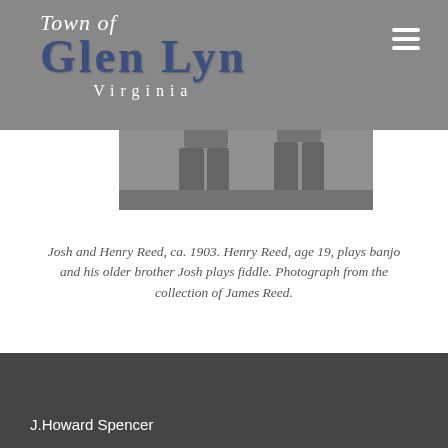Town of Glen Lyn Virginia
[Figure (photo): Black and white historical photograph of two men sitting, one playing banjo and one playing fiddle, ca. 1903.]
Josh and Henry Reed, ca. 1903. Henry Reed, age 19, plays banjo and his older brother Josh plays fiddle. Photograph from the collection of James Reed.
J.Howard Spencer